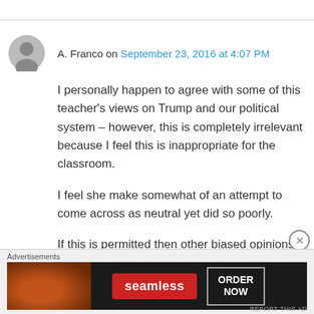A. Franco on September 23, 2016 at 4:07 PM
I personally happen to agree with some of this teacher's views on Trump and our political system – however, this is completely irrelevant because I feel this is inappropriate for the classroom.
I feel she make somewhat of an attempt to come across as neutral yet did so poorly.
If this is permitted then other biased opinions should be accepted as well and I would very
Advertisements
[Figure (other): Seamless food delivery advertisement banner with pizza image, Seamless logo, and ORDER NOW button]